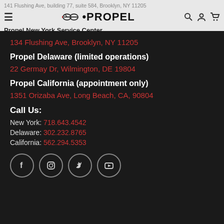141 Flushing Ave, building 77, suite 584, Brooklyn, NY 11205
PROPEL - Propel New York Service Center
134 Flushing Ave, Brooklyn, NY 11205
Propel Delaware (limited operations)
22 Germay Dr, Wilmington, DE 19804
Propel California (appointment only)
1351 Orizaba Ave, Long Beach, CA, 90804
Call Us:
New York: 718.643.4542
Delaware: 302.232.8765
California: 562.294.5353
[Figure (infographic): Social media icons: Facebook, Instagram, Twitter, YouTube — white icons in circular outlines on dark background]